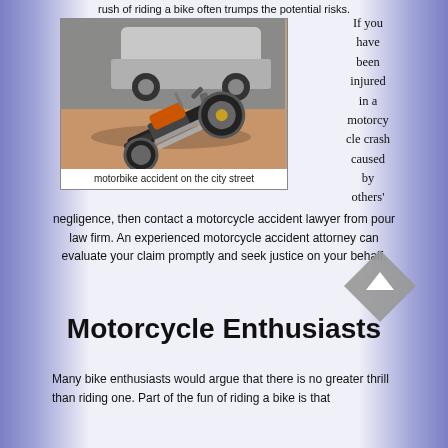rush of riding a bike often trumps the potential risks.
[Figure (photo): Fallen motorcycle on a city street with a car in the background. Motorbike lying on its side on a dirt/road surface.]
motorbike accident on the city street
If you have been injured in a motorcycle crash caused by others' negligence, then contact a motorcycle accident lawyer from pour law firm. An experienced motorcycle accident attorney can evaluate your claim promptly and seek justice on your behalf.
Motorcycle Enthusiasts
Many bike enthusiasts would argue that there is no greater thrill than riding one. Part of the fun of riding a bike is that